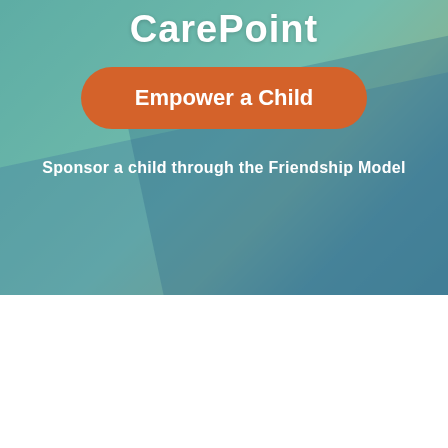[Figure (photo): Background hero image showing a child writing/drawing at a desk, overlaid with teal/green gradient and semi-transparent colored shapes creating a diagonal design]
CarePoint
Empower a Child
Sponsor a child through the Friendship Model